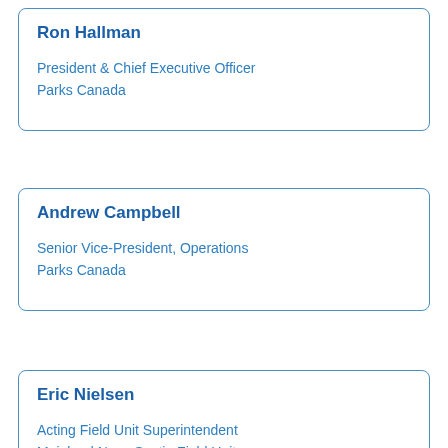Ron Hallman
President & Chief Executive Officer
Parks Canada
Andrew Campbell
Senior Vice-President, Operations
Parks Canada
Eric Nielsen
Acting Field Unit Superintendent
Mainland Nova Scotia Field Unit
Parks Canada